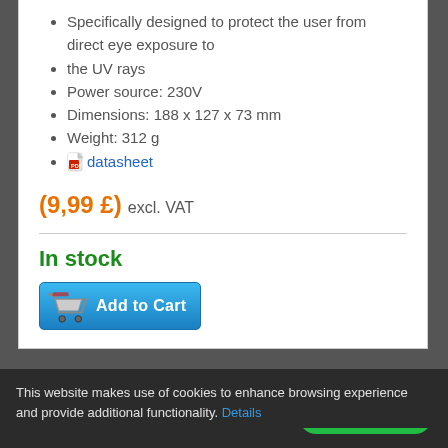Specifically designed to protect the user from direct eye exposure to
the UV rays
Power source: 230V
Dimensions: 188 x 127 x 73 mm
Weight: 312 g
datasheet
(9,99 £) excl. VAT
In stock
[Figure (screenshot): Add to Cart button with shopping cart icon]
This website makes use of cookies to enhance browsing experience and provide additional functionality. Details
Allow cookies